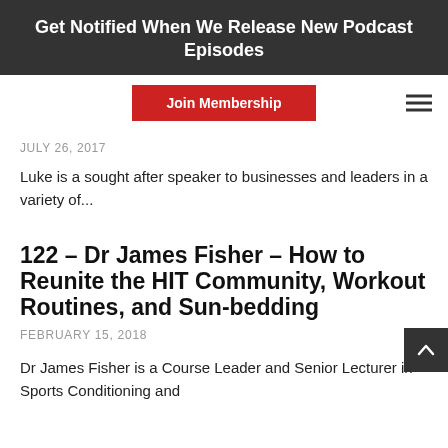Get Notified When We Release New Podcast Episodes
[Figure (screenshot): Red Join Membership button and hamburger menu icon in navigation bar]
JULY 26, 2017
Luke is a sought after speaker to businesses and leaders in a variety of...
122 – Dr James Fisher – How to Reunite the HIT Community, Workout Routines, and Sun-bedding
FEBRUARY 15, 2018
Dr James Fisher is a Course Leader and Senior Lecturer in Sports Conditioning and